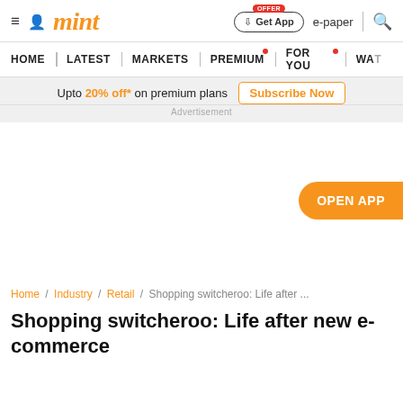mint — Home | Latest | Markets | Premium | For You | Wat...
Upto 20% off* on premium plans  Subscribe Now
Advertisement
[Figure (other): Orange 'OPEN APP' button on the right side of advertisement area]
Home / Industry / Retail / Shopping switcheroo: Life after ...
Shopping switcheroo: Life after new e-commerce